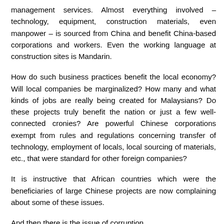management services. Almost everything involved – technology, equipment, construction materials, even manpower – is sourced from China and benefit China-based corporations and workers. Even the working language at construction sites is Mandarin.
How do such business practices benefit the local economy? Will local companies be marginalized? How many and what kinds of jobs are really being created for Malaysians? Do these projects truly benefit the nation or just a few well-connected cronies? Are powerful Chinese corporations exempt from rules and regulations concerning transfer of technology, employment of locals, local sourcing of materials, etc., that were standard for other foreign companies?
It is instructive that African countries which were the beneficiaries of large Chinese projects are now complaining about some of these issues.
And then there is the issue of corruption.
Transparency International's 2011 Bribe Payer Index ranks Chinese